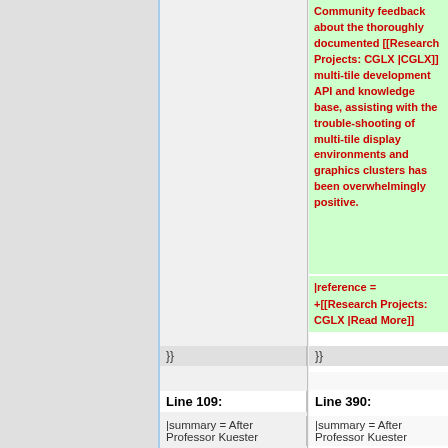Community feedback about the thoroughly documented [[Research Projects: CGLX |CGLX]] multi-tile development API and knowledge base, assisting with the trouble-shooting of multi-tile display environments and graphics clusters has been overwhelmingly positive.
|reference = +[[Research Projects: CGLX |Read More]]
}}
}}
Line 109:
Line 390:
|summary = After Professor Kuester
|summary = After Professor Kuester